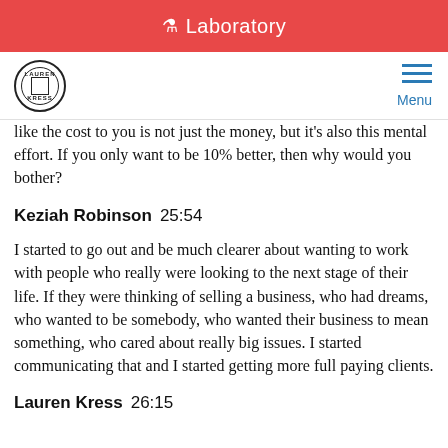Laboratory
like the cost to you is not just the money, but it's also this mental effort. If you only want to be 10% better, then why would you bother?
Keziah Robinson  25:54
I started to go out and be much clearer about wanting to work with people who really were looking to the next stage of their life. If they were thinking of selling a business, who had dreams, who wanted to be somebody, who wanted their business to mean something, who cared about really big issues. I started communicating that and I started getting more full paying clients.
Lauren Kress  26:15